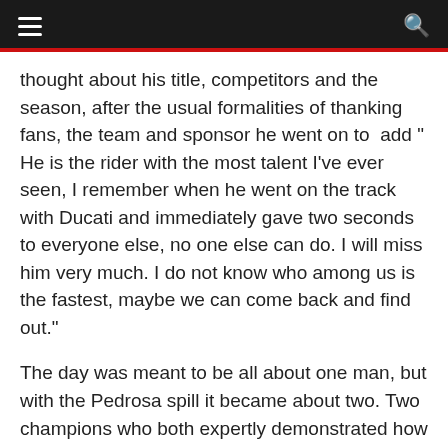[hamburger menu] [search icon]
thought about his title, competitors and the season, after the usual formalities of thanking fans, the team and sponsor he went on to  add " He is the rider with the most talent I've ever seen, I remember when he went on the track with Ducati and immediately gave two seconds to everyone else, no one else can do. I will miss him very much. I do not know who among us is the fastest, maybe we can come back and find out."
The day was meant to be all about one man, but with the Pedrosa spill it became about two. Two champions who both expertly demonstrated how to ride these monsters on the most beautiful circuit in the world.
With the title now decided the shackles will be off in